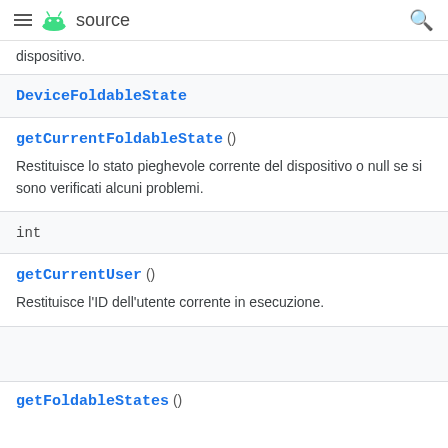≡ [android] source  🔍
dispositivo.
DeviceFoldableState
getCurrentFoldableState ()
Restituisce lo stato pieghevole corrente del dispositivo o null se si sono verificati alcuni problemi.
int
getCurrentUser ()
Restituisce l'ID dell'utente corrente in esecuzione.
getFoldableStates ()